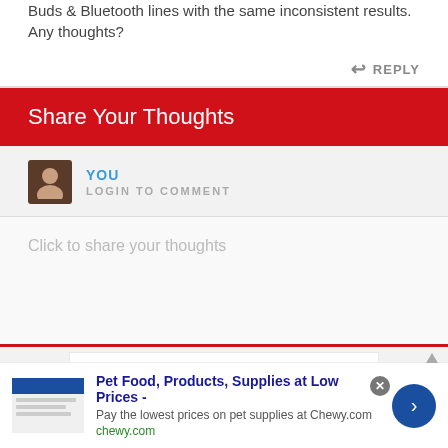Buds & Bluetooth lines with the same inconsistent results. Any thoughts?
REPLY
Share Your Thoughts
YOU
LOGIN TO COMMENT
Click to share your thoughts
[Figure (screenshot): Advertisement banner for Chewy.com: Pet Food, Products, Supplies at Low Prices - Pay the lowest prices on pet supplies at Chewy.com]